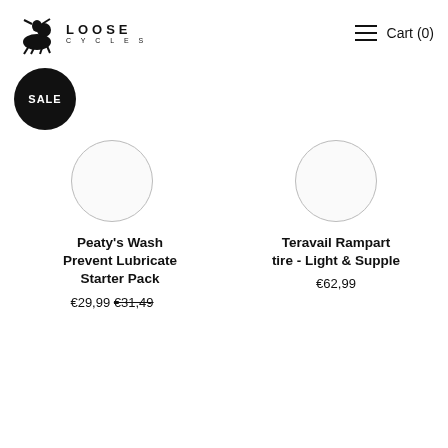LOOSE CYCLES — Cart (0)
[Figure (logo): Loose Cycles logo with horse/rider silhouette and LOOSE CYCLES text]
SALE
[Figure (photo): Product image placeholder circle for Peaty's Wash Prevent Lubricate Starter Pack]
[Figure (photo): Product image placeholder circle for Teravail Rampart tire]
Peaty's Wash Prevent Lubricate Starter Pack
€29,99 €31,49
Teravail Rampart tire - Light & Supple
€62,99